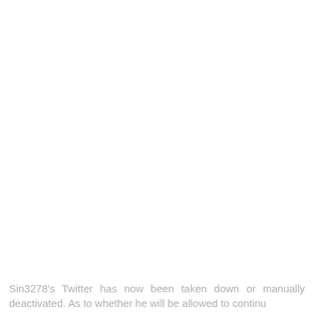Sin3278's Twitter has now been taken down or manually deactivated. As to whether he will be allowed to continu